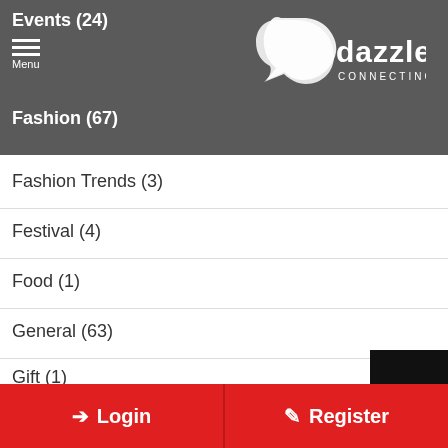Events (24)
Fashion (67)
Fashion Trends (3)
Festival (4)
Food (1)
General (63)
Gift (1)
Hair Stylist (11)
Health (3)
Highlights (8)
Makeup Artist (9)
Login | Register